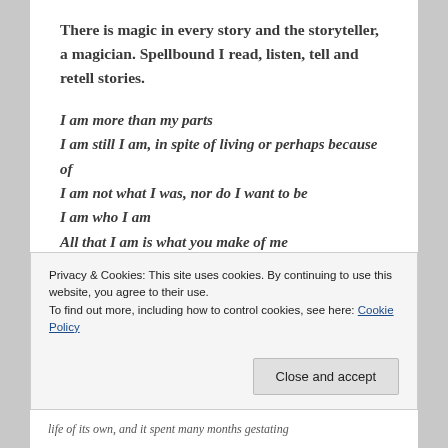There is magic in every story and the storyteller, a magician. Spellbound I read, listen, tell and retell stories.
I am more than my parts
I am still I am, in spite of living or perhaps because of
I am not what I was, nor do I want to be
I am who I am
All that I am is what you make of me
I am more than the boundaries of your sentience
I am ..
Privacy & Cookies: This site uses cookies. By continuing to use this website, you agree to their use.
To find out more, including how to control cookies, see here: Cookie Policy
life of its own, and it spent many months gestating